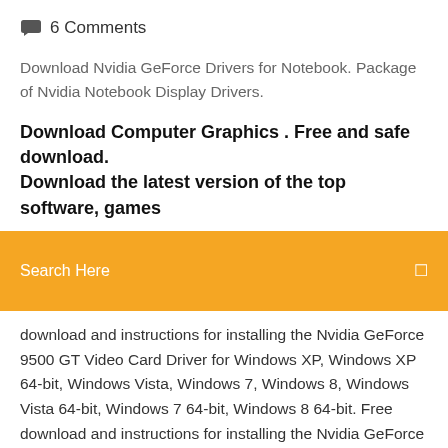6 Comments
Download Nvidia GeForce Drivers for Notebook. Package of Nvidia Notebook Display Drivers.
Download Computer Graphics . Free and safe download. Download the latest version of the top software, games
Search Here
download and instructions for installing the Nvidia GeForce 9500 GT Video Card Driver for Windows XP, Windows XP 64-bit, Windows Vista, Windows 7, Windows 8, Windows Vista 64-bit, Windows 7 64-bit, Windows 8 64-bit. Free download and instructions for installing the Nvidia GeForce 9400 GT Video Card Driver for Windows XP, Windows XP 64-bit, Windows Vista, Windows 7, Windows 8, Windows Vista 64-bit, Windows 7 64-bit, Windows 8 64-bit. Nvidia ForceWare v.342.01 - Universal driver for GeForce video cards. Free download latest version